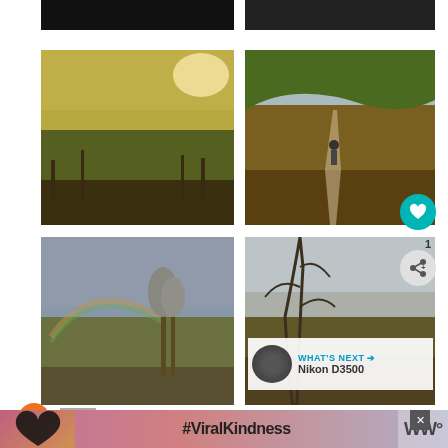[Figure (photo): Partial dark image cropped at top, left column]
[Figure (photo): Partial dark image cropped at top, right column]
[Figure (photo): Countryside landscape at golden hour, green fields and bare trees with warm light]
[Figure (photo): Hilly countryside path with person walking away, autumnal colours]
[Figure (photo): Countryside with rainbow over lake and birch trees]
[Figure (photo): Landscape with bare trees, bench, and overcast sky]
WHAT'S NEXT → Nikon D3500
1
[Figure (photo): #ViralKindness advertisement banner with heart shape hands silhouette]